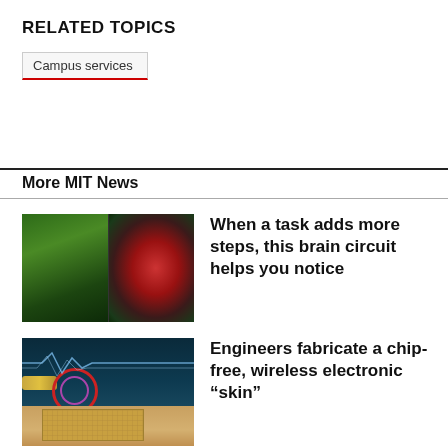RELATED TOPICS
Campus services
More MIT News
[Figure (photo): Two side-by-side microscope images of brain tissue. Left image shows green-illuminated brain tissue. Right image shows a brain with red fluorescent regions.]
When a task adds more steps, this brain circuit helps you notice
[Figure (illustration): Digital illustration of a chip-free wireless electronic skin patch on a human wrist/arm. Shows a coil antenna, ECG waveform lines, and a gold circuit patch on skin-colored background with teal/dark background.]
Engineers fabricate a chip-free, wireless electronic “skin”